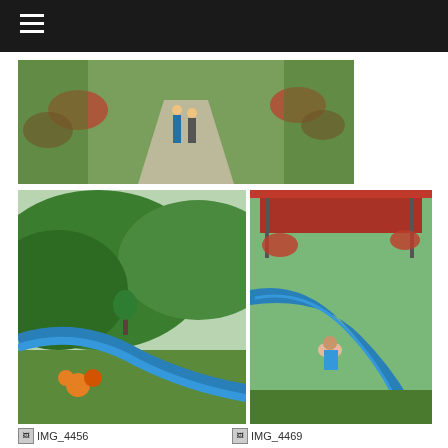Navigation menu bar
[Figure (photo): Two people standing on a paved garden path lined with red flowers and green foliage]
[Figure (photo): Lush green hillside landscape with a blue water slide running through it and orange flowers in foreground]
[Figure (photo): Blue water slide with a girl sliding down and another person at the bottom, surrounded by greenery and a red-roofed structure]
IMG_4456
IMG_4469
[Figure (photo): Selfie of two young women smiling, one wearing swimming goggles on her head, outdoors near a pool]
[Figure (photo): Partial view of a green mountainous landscape]